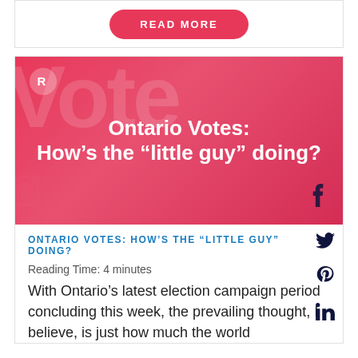READ MORE
[Figure (illustration): Red banner image with watermark text 'Vote' and centered white bold text reading 'Ontario Votes: How’s the “little guy” doing?' with a rounded logo icon top-left and Facebook icon bottom-right]
ONTARIO VOTES: HOW’S THE “LITTLE GUY” DOING?
Reading Time: 4 minutes
With Ontario’s latest election campaign period concluding this week, the prevailing thought, I believe, is just how much the world